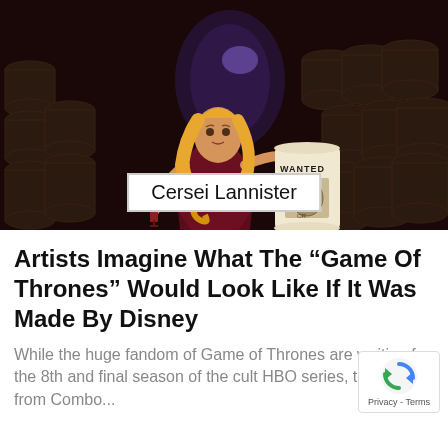[Figure (illustration): Animated Disney-style illustration of Cersei Lannister in a dark wine cellar, holding a goblet in one hand and a 'Wanted' scroll in the other, with blonde hair and a dark red dress. Barrels line the background.]
Cersei Lannister
Artists Imagine What The “Game Of Thrones” Would Look Like If It Was Made By Disney
While the huge fandom of Game of Thrones are waiting for the 8th and final season of the cult HBO series, the artists from Combo...